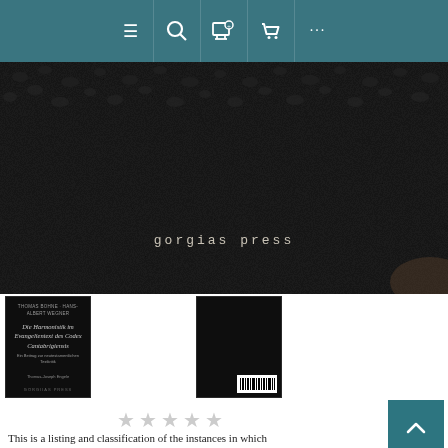[Figure (screenshot): Website navigation bar with teal background showing hamburger menu, search, wishlist, cart, and more icons]
[Figure (photo): Dark pebble/seed texture background with Gorgias Press logo text centered]
[Figure (photo): Front cover thumbnail of book 'Die Harmonistik im Evangelientext des Codex Cantabrigiensis']
[Figure (photo): Back cover thumbnail of the same book showing barcode]
★★★★★ (star rating)
This is a listing and classification of the instances in which